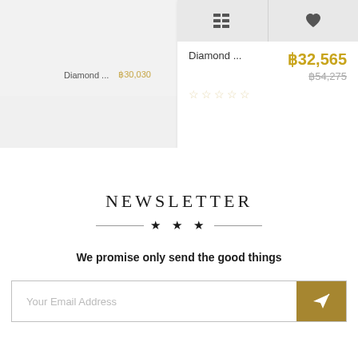[Figure (screenshot): E-commerce product card showing 'Diamond ...' with price ฿30,030 in small left card (partial), and a larger white card on right showing 'Diamond ...' with price ฿32,565 (original ฿54,275 strikethrough), five empty star ratings, and two icon buttons (grid and heart)]
NEWSLETTER
We promise only send the good things
Your Email Address